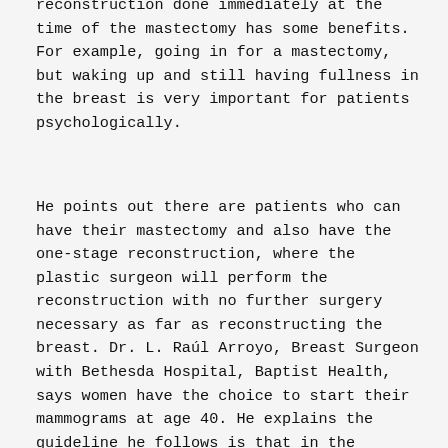reconstruction done immediately at the time of the mastectomy has some benefits. For example, going in for a mastectomy, but waking up and still having fullness in the breast is very important for patients psychologically.
He points out there are patients who can have their mastectomy and also have the one-stage reconstruction, where the plastic surgeon will perform the reconstruction with no further surgery necessary as far as reconstructing the breast. Dr. L. Raúl Arroyo, Breast Surgeon with Bethesda Hospital, Baptist Health, says women have the choice to start their mammograms at age 40. He explains the guideline he follows is that in the absence of any particular or specific family or personal history, a woman who is at average risk for breast cancer should start the mammograms at age 40.